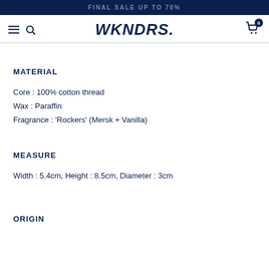FINAL SALE UP TO 70%
[Figure (logo): WKNDRS. brand logo in bold italic navy font, with hamburger menu and search icon on left, cart icon with badge '0' on right]
MATERIAL
Core : 100% cotton thread
Wax : Paraffin
Fragrance : 'Rockers' (Mersk + Vanilla)
MEASURE
Width : 5.4cm, Height : 8.5cm, Diameter : 3cm
ORIGIN